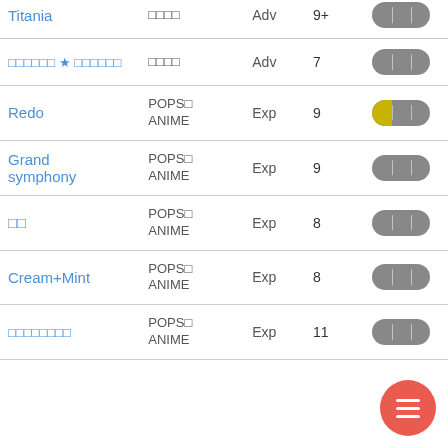| Title | Genre | Diff | Level | Badge |
| --- | --- | --- | --- | --- |
| Titania | □□□□ | Adv | 9+ | pill |
| □□□□□□ ★ □□□□□□ | □□□□ | Adv | 7 | pill |
| Redo | POPS□ ANIME | Exp | 9 | pill-yellow |
| Grand symphony | POPS□ ANIME | Exp | 9 | pill |
| □□ | POPS□ ANIME | Exp | 8 | pill |
| Cream+Mint | POPS□ ANIME | Exp | 8 | pill |
| □□□□□□□□ | POPS□ ANIME | Exp | 11 | pill |